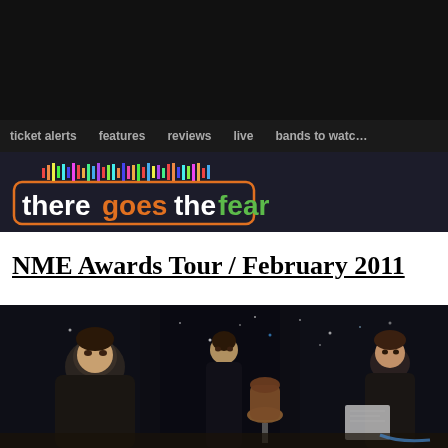theregoesthefear
ticket alerts  features  reviews  live  bands to watch
NME Awards Tour / February 2011
[Figure (photo): Photo of three people in a dark room with star-lit background, a mannequin torso in the foreground center]